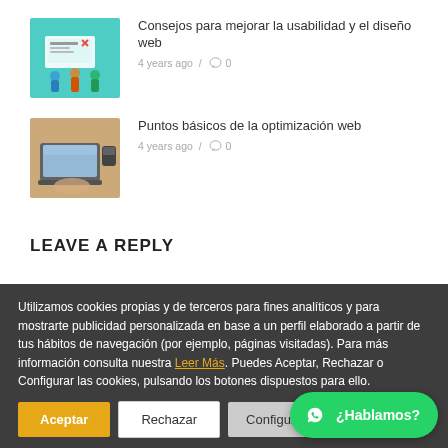[Figure (screenshot): Thumbnail image for web usability and design article - isometric illustration of people working on a website with screens]
Consejos para mejorar la usabilidad y el diseño web
4 years ago / 0
[Figure (photo): Thumbnail photo of a person working on a laptop computer on a wooden desk]
Puntos básicos de la optimización web
4 years ago / 0
LEAVE A REPLY
Utilizamos cookies propias y de terceros para fines analíticos y para mostrarte publicidad personalizada en base a un perfil elaborado a partir de tus hábitos de navegación (por ejemplo, páginas visitadas). Para más información consulta nuestra Leer Más. Puedes Aceptar, Rechazar o Configurar las cookies, pulsando los botones dispuestos para ello.
Aceptar
Rechazar
Configuració...
¿Hablamos?